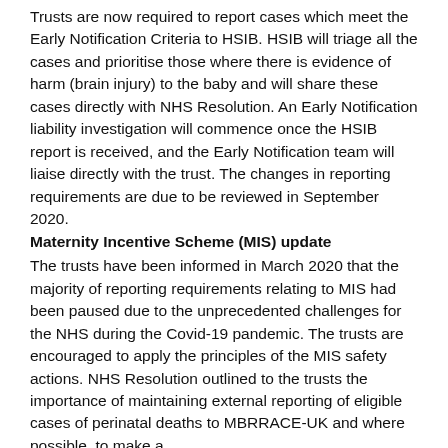Trusts are now required to report cases which meet the Early Notification Criteria to HSIB. HSIB will triage all the cases and prioritise those where there is evidence of harm (brain injury) to the baby and will share these cases directly with NHS Resolution. An Early Notification liability investigation will commence once the HSIB report is received, and the Early Notification team will liaise directly with the trust. The changes in reporting requirements are due to be reviewed in September 2020.
Maternity Incentive Scheme (MIS) update
The trusts have been informed in March 2020 that the majority of reporting requirements relating to MIS had been paused due to the unprecedented challenges for the NHS during the Covid-19 pandemic. The trusts are encouraged to apply the principles of the MIS safety actions. NHS Resolution outlined to the trusts the importance of maintaining external reporting of eligible cases of perinatal deaths to MBRRACE-UK and where possible, to make a